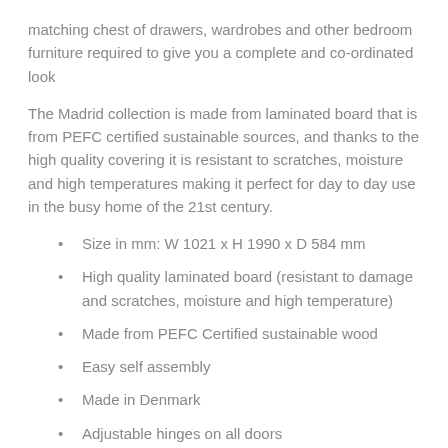matching chest of drawers, wardrobes and other bedroom furniture required to give you a complete and co-ordinated look
The Madrid collection is made from laminated board that is from PEFC certified sustainable sources, and thanks to the high quality covering it is resistant to scratches, moisture and high temperatures making it perfect for day to day use in the busy home of the 21st century.
Size in mm: W 1021 x H 1990 x D 584 mm
High quality laminated board (resistant to damage and scratches, moisture and high temperature)
Made from PEFC Certified sustainable wood
Easy self assembly
Made in Denmark
Adjustable hinges on all doors
Assembled Weight (kg): 88.4